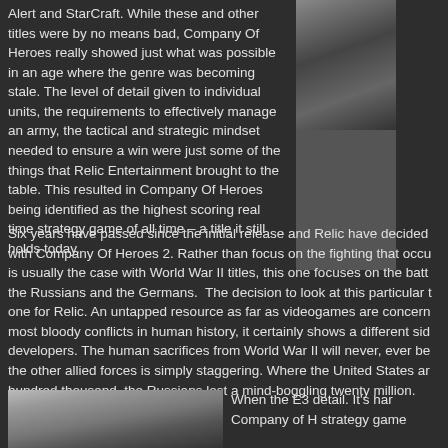Alert and StarCraft. While these and other titles were by no means bad, Company Of Heroes really showed just what was possible in an age where the genre was becoming stale. The level of detail given to individual units, the requirements to effectively manage an army, the tactical and strategic mindset needed to ensure a win were just some of the things that Relic Entertainment brought to the table. This resulted in Company Of Heroes being identified as the highest scoring real time strategy game of all time – a title it still holds today.
[Figure (photo): A dark photograph showing military vehicles or tanks in a wartime setting]
Six years have passed since the initial release and Relic have decided with Company Of Heroes 2. Rather than focus on the fighting that occu is usually the case with World War II titles, this one focuses on the batt the Russians and the Germans. The decision to look at this particular t one for Relic. An untapped resource as far as videogames are concern most bloody conflicts in human history, it certainly shows a different sid developers. The human sacrifices from World War II will never, ever be the other allied forces is simply staggering. Where the United States ar hundred thousand, the Russians lost a mind-boggling twenty million.
[Figure (photo): A wintry battlefield scene showing soldiers and tanks in snow, from Company of Heroes 2]
When the E3 detail. It's har Company of H strategy game